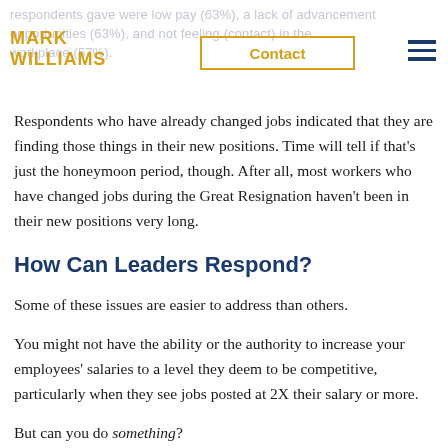respondents gave were low pay (63%), a lack of advancement opportunities (63%), and not feeling (Contact) in the workplace (57%).
Respondents who have already changed jobs indicated that they are finding those things in their new positions. Time will tell if that's just the honeymoon period, though. After all, most workers who have changed jobs during the Great Resignation haven't been in their new positions very long.
How Can Leaders Respond?
Some of these issues are easier to address than others.
You might not have the ability or the authority to increase your employees' salaries to a level they deem to be competitive, particularly when they see jobs posted at 2X their salary or more.
But can you do something?